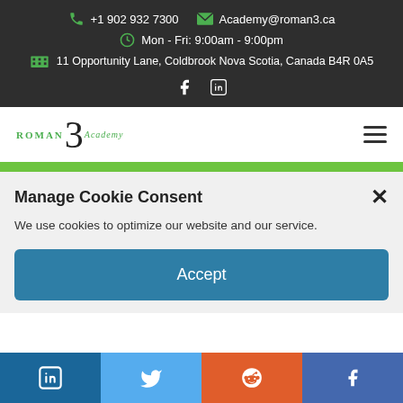+1 902 932 7300 | Academy@roman3.ca | Mon - Fri: 9:00am - 9:00pm | 11 Opportunity Lane, Coldbrook Nova Scotia, Canada B4R 0A5
[Figure (logo): Roman 3 Academy logo with green text ROMAN, large numeral 3, and italic Academy text]
Manage Cookie Consent
We use cookies to optimize our website and our service.
LinkedIn | Twitter | Reddit | Facebook social share buttons